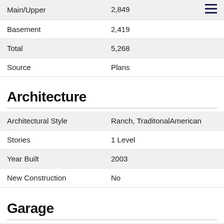| Field | Value |
| --- | --- |
| Main/Upper | 2,849 |
| Basement | 2,419 |
| Total | 5,268 |
| Source | Plans |
Architecture
| Field | Value |
| --- | --- |
| Architectural Style | Ranch, TraditonalAmerican |
| Stories | 1 Level |
| Year Built | 2003 |
| New Construction | No |
Garage
| Field | Value |
| --- | --- |
| Garage Type | Attached |